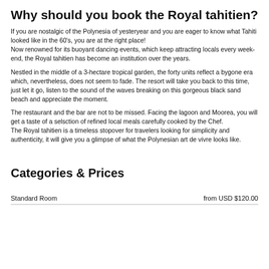Why should you book the Royal tahitien?
If you are nostalgic of the Polynesia of yesteryear and you are eager to know what Tahiti looked like in the 60's, you are at the right place!
Now renowned for its buoyant dancing events, which keep attracting locals every week-end, the Royal tahitien has become an institution over the years.
Nestled in the middle of a 3-hectare tropical garden, the forty units reflect a bygone era which, nevertheless, does not seem to fade. The resort will take you back to this time, just let it go, listen to the sound of the waves breaking on this gorgeous black sand beach and appreciate the moment.
The restaurant and the bar are not to be missed. Facing the lagoon and Moorea, you will get a taste of a selsction of refined local meals carefully cooked by the Chef.
The Royal tahitien is a timeless stopover for travelers looking for simplicity and authenticity, it will give you a glimpse of what the Polynesian art de vivre looks like.
Categories & Prices
|  |  |
| --- | --- |
| Standard Room | from USD $120.00 |